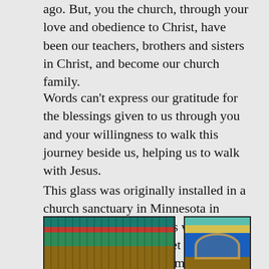ago. But, you the church, through your love and obedience to Christ, have been our teachers, brothers and sisters in Christ, and become our church family.
Words can't express our gratitude for the blessings given to us through you and your willingness to walk this journey beside us, helping us to walk with Jesus.
This glass was originally installed in a church sanctuary in Minnesota in 1922. The original panels were salvaged, re-cut, and reset by Tim, for you. We do not have the means to invest in the
[Figure (photo): Stained glass panel showing colorful vertical strips and a decorative horizontal band, originally from a church sanctuary in Minnesota, 1922.]
[Figure (photo): Stained glass panel with blue background showing an arched religious figure or symbol, with green and gold border elements.]